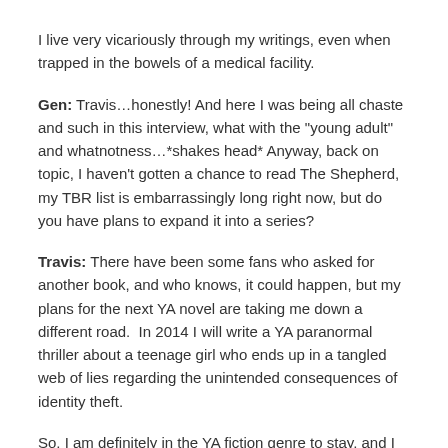I live very vicariously through my writings, even when trapped in the bowels of a medical facility.
Gen: Travis…honestly! And here I was being all chaste and such in this interview, what with the "young adult" and whatnotness…*shakes head* Anyway, back on topic, I haven't gotten a chance to read The Shepherd, my TBR list is embarrassingly long right now, but do you have plans to expand it into a series?
Travis: There have been some fans who asked for another book, and who knows, it could happen, but my plans for the next YA novel are taking me down a different road.  In 2014 I will write a YA paranormal thriller about a teenage girl who ends up in a tangled web of lies regarding the unintended consequences of identity theft.
So, I am definitely in the YA fiction genre to stay, and I plan to jump back and forth between YA and adult at my leisure, probably to the annoyance of my fans.